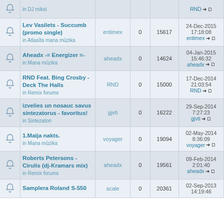|  | Topic | Author | Replies | Views | Last Post |
| --- | --- | --- | --- | --- | --- |
|  | in DJ miksi |  |  |  | RND →□ |
| 🔔 | Lev Vasilets - Succumb (promo single)
in Atlasīta mana mūzika | entimex | 0 | 15617 | 24-Dec-2015 17:18:08 entimex →□ |
| 🔔 | Aheadx -= Energizer =-
in Mana mūzika | aheadx | 0 | 14624 | 04-Jan-2015 15:46:32 aheadx →□ |
| 🔔 | RND Feat. Bing Crosby - Deck The Halls
in Remix forums | RND | 0 | 15000 | 17-Dec-2014 21:03:54 RND →□ |
| 🔔 | izvelies un nosauc savus sintezatorus - favoritus!
in Sintezatori | gjvti | 0 | 16222 | 29-Sep-2014 7:27:23 gjvti →□ |
| 🔔 | 1.Maija nakts.
in Mana mūzika | voyager | 0 | 19094 | 02-May-2014 8:36:09 voyager →□ |
| 🔔 | Roberts Petersons - Cirulis (dj-Kramars mix)
in Remix forums | aheadx | 0 | 19561 | 09-Feb-2014 2:01:40 aheadx →□ |
| 🔔 | Samplera Roland S-550
... | scale | 0 | 20361 | 02-Sep-2013 14:19:46 |